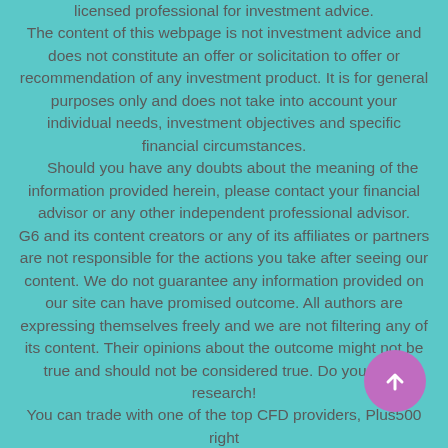licensed professional for investment advice.
The content of this webpage is not investment advice and does not constitute an offer or solicitation to offer or recommendation of any investment product. It is for general purposes only and does not take into account your individual needs, investment objectives and specific financial circumstances.
Should you have any doubts about the meaning of the information provided herein, please contact your financial advisor or any other independent professional advisor.
G6 and its content creators or any of its affiliates or partners are not responsible for the actions you take after seeing our content. We do not guarantee any information provided on our site can have promised outcome. All authors are expressing themselves freely and we are not filtering any of its content. Their opinions about the outcome might not be true and should not be considered true. Do your own research!
You can trade with one of the top CFD providers, Plus500 right
[Figure (other): A circular purple/violet button with an upward-pointing white arrow, used as a scroll-to-top button.]